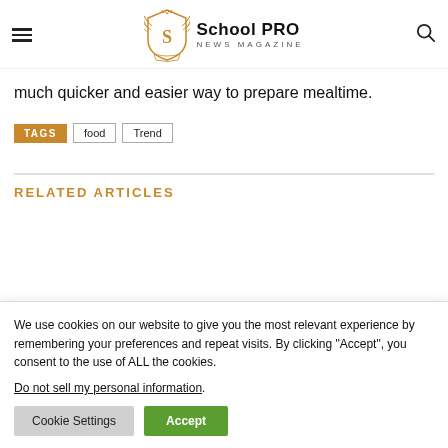School PRO NEWS MAGAZINE
much quicker and easier way to prepare mealtime.
TAGS  food  Trend
RELATED ARTICLES
We use cookies on our website to give you the most relevant experience by remembering your preferences and repeat visits. By clicking “Accept”, you consent to the use of ALL the cookies.
Do not sell my personal information.